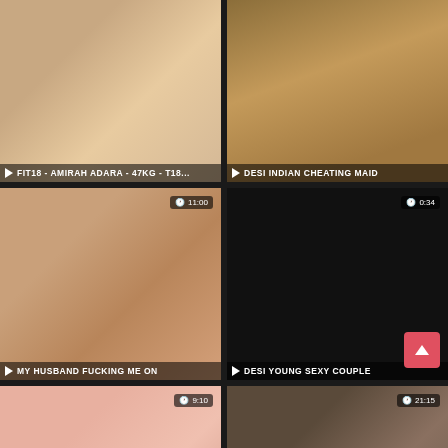[Figure (screenshot): Video thumbnail grid showing adult content video listings with titles and durations]
FIT18 - AMIRAH ADARA - 47KG - T18...
DESI INDIAN CHEATING MAID
MY HUSBAND FUCKING ME ON
11:00
DESI YOUNG SEXY COUPLE
0:34
GIRLS4COCK.COM *** SEXY YOUNG RI...
9:10
INDIAN GIRLFRIEND CHUDAI...
21:15
10:47
22:27